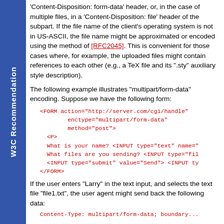W3C Recommendation
'Content-Disposition: form-data' header, or, in the case of multiple files, in a 'Content-Disposition: file' header of the subpart. If the file name of the client's operating system is not in US-ASCII, the file name might be approximated or encoded using the method of [RFC2045]. This is convenient for those cases where, for example, the uploaded files might contain references to each other (e.g., a TeX file and its ".sty" auxiliary style description).
The following example illustrates "multipart/form-data" encoding. Suppose we have the following form:
<FORM action="http://server.com/cgi/handle"
        enctype="multipart/form-data"
        method="post">
  <P>
  What is your name? <INPUT type="text" name=...
  What files are you sending? <INPUT type="fil...
  <INPUT type="submit" value="Send"> <INPUT ty...
</FORM>
If the user enters "Larry" in the text input, and selects the text file "file1.txt", the user agent might send back the following data:
Content-Type: multipart/form-data; boundary...